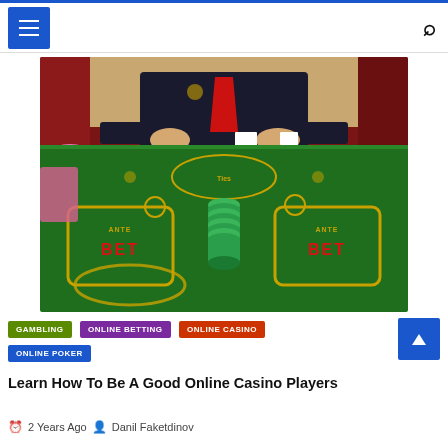Menu | Search
[Figure (photo): Casino table with green felt, BET boxes marked with yellow borders, stack of green poker chips in the center, dealer/croupier in black uniform with red tie standing behind the table with red curtain background]
GAMBLING   ONLINE BETTING   ONLINE CASINO   ONLINE POKER
Learn How To Be A Good Online Casino Players
2 Years Ago   Danil Faketdinov